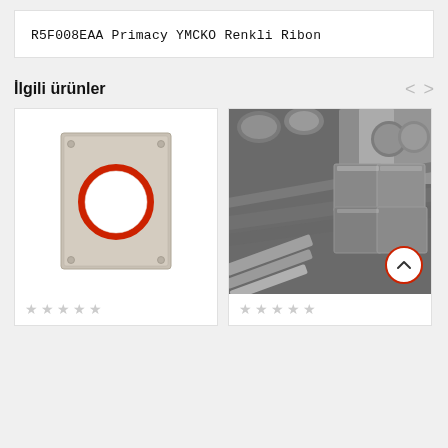R5F008EAA Primacy YMCKO Renkli Ribon
İlgili ürünler
[Figure (photo): Product card showing a rectangular metal plate with a circular red-rimmed hole cutout in the center, on white background]
[Figure (photo): Product card showing a stack of various metal profiles, rods, tubes, and structural steel sections in a grey industrial photo]